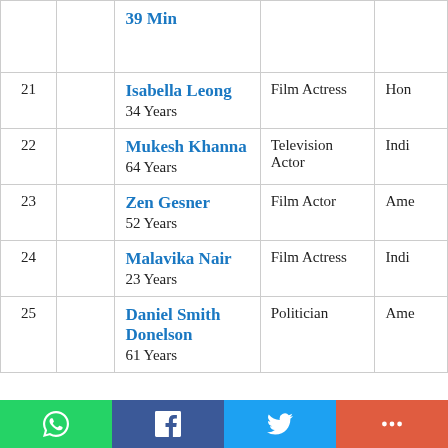| # | Photo | Name / Age | Profession | Nationality |
| --- | --- | --- | --- | --- |
|  |  | 39 Min (partial) |  |  |
| 21 |  | Isabella Leong
34 Years | Film Actress | Hon… |
| 22 |  | Mukesh Khanna
64 Years | Television Actor | Indi… |
| 23 |  | Zen Gesner
52 Years | Film Actor | Ame… |
| 24 |  | Malavika Nair
23 Years | Film Actress | Indi… |
| 25 |  | Daniel Smith Donelson
61 Years | Politician | Ame… |